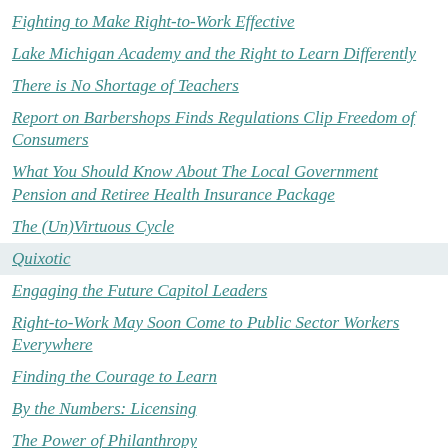Fighting to Make Right-to-Work Effective
Lake Michigan Academy and the Right to Learn Differently
There is No Shortage of Teachers
Report on Barbershops Finds Regulations Clip Freedom of Consumers
What You Should Know About The Local Government Pension and Retiree Health Insurance Package
The (Un)Virtuous Cycle
Quixotic
Engaging the Future Capitol Leaders
Right-to-Work May Soon Come to Public Sector Workers Everywhere
Finding the Courage to Learn
By the Numbers: Licensing
The Power of Philanthropy